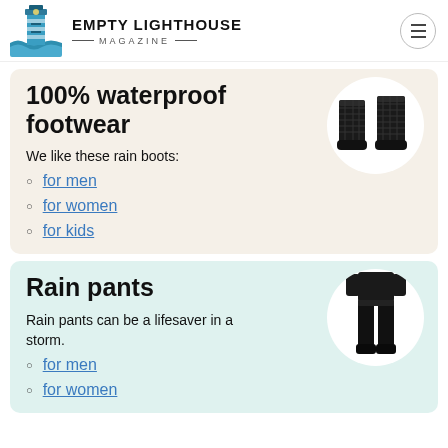EMPTY LIGHTHOUSE MAGAZINE
100% waterproof footwear
We like these rain boots:
for men
for women
for kids
[Figure (photo): Black quilted rain boots on white circular background]
Rain pants
Rain pants can be a lifesaver in a storm.
for men
for women
[Figure (photo): Person wearing black rain pants on white circular background]